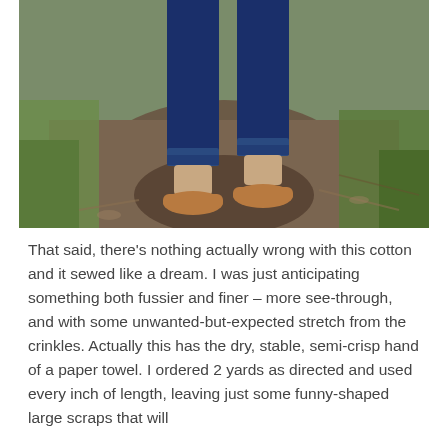[Figure (photo): Photo showing the lower half of a person wearing rolled-up dark blue jeans and tan/brown flat shoes, standing on a dirt path surrounded by grass and scattered leaves and twigs.]
That said, there's nothing actually wrong with this cotton and it sewed like a dream. I was just anticipating something both fussier and finer – more see-through, and with some unwanted-but-expected stretch from the crinkles. Actually this has the dry, stable, semi-crisp hand of a paper towel. I ordered 2 yards as directed and used every inch of length, leaving just some funny-shaped large scraps that will